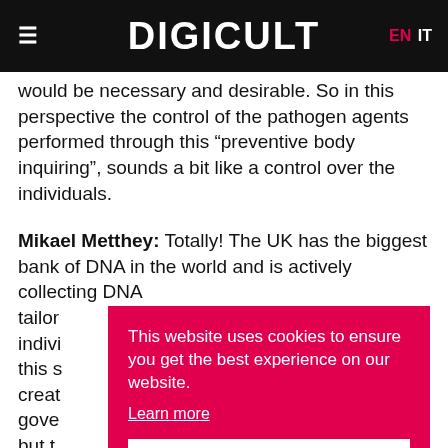DIGICULT | EN IT
would be necessary and desirable. So in this perspective the control of the pathogen agents performed through this “preventive body inquiring”, sounds a bit like a control over the individuals.
Mikael Metthey: Totally! The UK has the biggest bank of DNA in the world and is actively collecting DNA tailored indivi this s creat gove but t to give supporting aspects to the system, whereas
This website uses cookies to ensure you get the best experience on our website. Learn more Got it